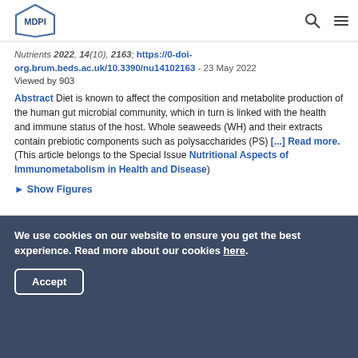MDPI
Nutrients 2022, 14(10), 2163; https://0-doi-org.brum.beds.ac.uk/10.3390/nu14102163 - 23 May 2022
Viewed by 903
Abstract Diet is known to affect the composition and metabolite production of the human gut microbial community, which in turn is linked with the health and immune status of the host. Whole seaweeds (WH) and their extracts contain prebiotic components such as polysaccharides (PS) [...] Read more.
(This article belongs to the Special Issue Nutritional Aspects of Immunometabolism in Health and Disease)
► Show Figures
We use cookies on our website to ensure you get the best experience. Read more about our cookies here.